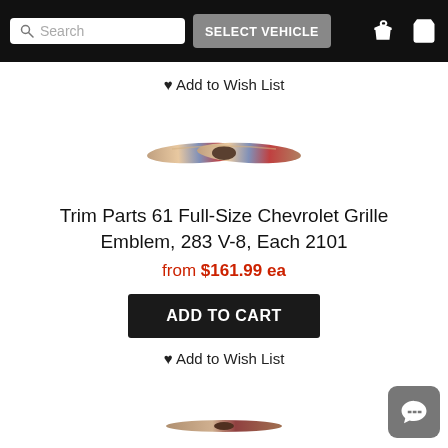Search | SELECT VEHICLE
Add to Wish List
[Figure (photo): Chevrolet grille emblem - a wing-shaped chrome/multicolor badge]
Trim Parts 61 Full-Size Chevrolet Grille Emblem, 283 V-8, Each 2101
from $161.99 ea
ADD TO CART
Add to Wish List
[Figure (photo): Partial view of another Chevrolet emblem at the bottom of the page]